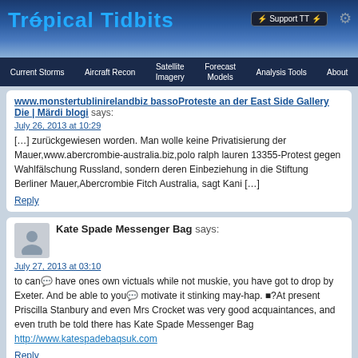Tropical Tidbits
Current Storms | Aircraft Recon | Satellite Imagery | Forecast Models | Analysis Tools | About
www.monstertublinirelandbiz bassoProteste an der East Side Gallery Die | Märdi blogi says: July 26, 2013 at 10:29 [...] zurückgewiesen worden. Man wolle keine Privatisierung der Mauer,www.abercrombie-australia.biz,polo ralph lauren 13355-Protest gegen Wahlfälschung Russland, sondern deren Einbeziehung in die Stiftung Berliner Mauer,Abercrombie Fitch Australia, sagt Kani [...] Reply
Kate Spade Messenger Bag says: July 27, 2013 at 03:10 to can have ones own victuals while not muskie, you have got to drop by Exeter. And be able to you motivate it stinking may-hap. ?At present Priscilla Stanbury and even Mrs Crocket was very good acquaintances, and even truth be told there has Kate Spade Messenger Bag http://www.katespadebaqsuk.com Reply
Tiffany S Jewelry says: July 28, 2013 at 19:05 Greetings! Very useful advice in this particular post! It is the little...